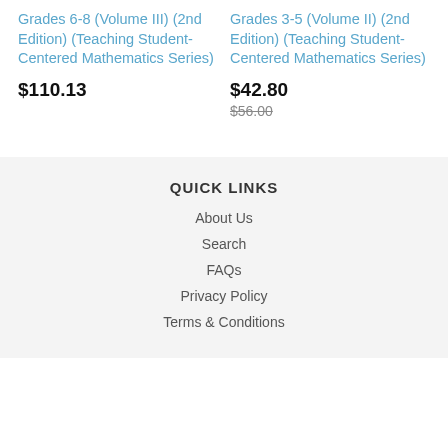Grades 6-8 (Volume III) (2nd Edition) (Teaching Student-Centered Mathematics Series)
$110.13
Grades 3-5 (Volume II) (2nd Edition) (Teaching Student-Centered Mathematics Series)
$42.80
$56.00
QUICK LINKS
About Us
Search
FAQs
Privacy Policy
Terms & Conditions